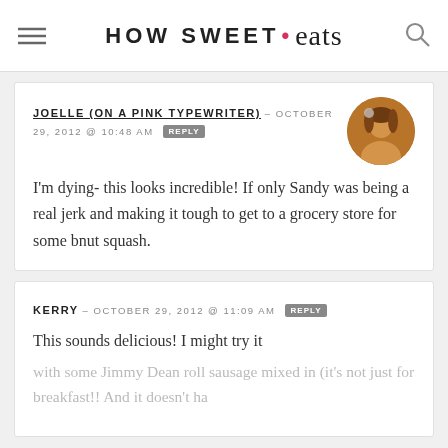HOW SWEET • eats
JOELLE (ON A PINK TYPEWRITER) — OCTOBER 29, 2012 @ 10:48 AM  REPLY

I'm dying- this looks incredible! If only Sandy was being a real jerk and making it tough to get to a grocery store for some bnut squash.
KERRY — OCTOBER 29, 2012 @ 11:09 AM  REPLY

This sounds delicious! I might try it
with some Jimmy Dean roll sausage mixed in (it's not just for breakfast!! And it doesn't ha...